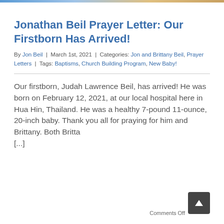Jonathan Beil Prayer Letter: Our Firstborn Has Arrived!
By Jon Beil | March 1st, 2021 | Categories: Jon and Brittany Beil, Prayer Letters | Tags: Baptisms, Church Building Program, New Baby!
Our firstborn, Judah Lawrence Beil, has arrived! He was born on February 12, 2021, at our local hospital here in Hua Hin, Thailand. He was a healthy 7-pound 11-ounce, 20-inch baby. Thank you all for praying for him and Brittany. Both Britta [...]
Comments Off